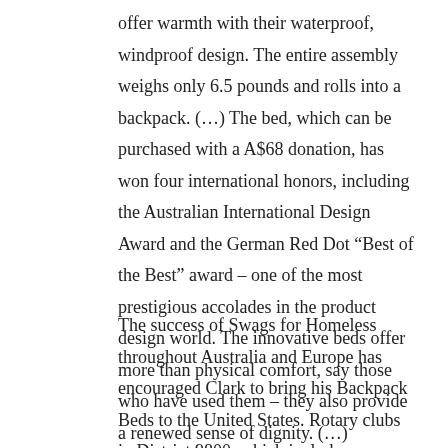offer warmth with their waterproof, windproof design. The entire assembly weighs only 6.5 pounds and rolls into a backpack. (…) The bed, which can be purchased with a A$68 donation, has won four international honors, including the Australian International Design Award and the German Red Dot “Best of the Best” award – one of the most prestigious accolades in the product design world. The innovative beds offer more than physical comfort, say those who have used them – they also provide a renewed sense of dignity. (…)
The success of Swags for Homeless throughout Australia and Europe has encouraged Clark to bring his Backpack Beds to the United States. Rotary clubs in District 9800, which includes Melbourne, funded and transported 100 beds to Baltimore and parts of New Jersey and New York to help the region’s homeless and those displaced by Hurricane Sandy. District 7500 (New Jersey) worked with Australian Rotarians to